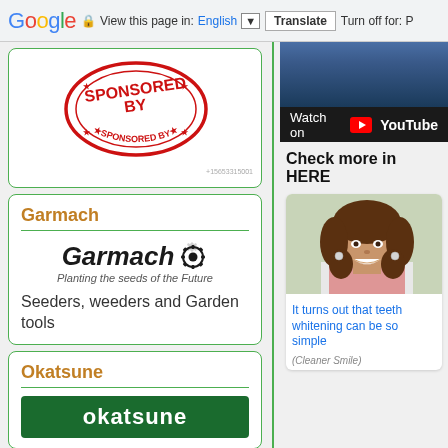Google | View this page in: English | Translate | Turn off for: P
[Figure (illustration): Red 'SPONSORED BY' rubber stamp logo in a circular design]
+15653315001
Garmach
[Figure (logo): Garmach logo with gear icon and tagline 'Planting the seeds of the Future']
Seeders, weeders and Garden tools
Okatsune
[Figure (logo): Okatsune green logo]
[Figure (screenshot): YouTube video embed showing 'Watch on YouTube']
Check more in HERE
[Figure (photo): Woman with curly hair smiling]
It turns out that teeth whitening can be so simple
(Cleaner Smile)